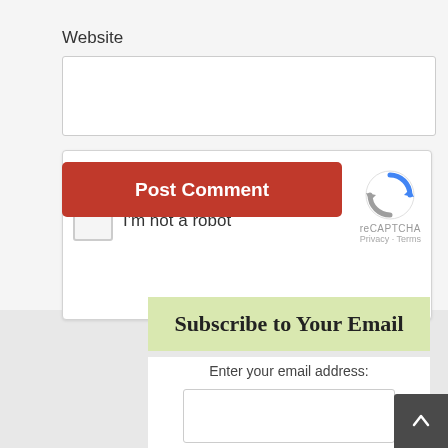Website
[Figure (screenshot): Website text input field (empty)]
[Figure (screenshot): Post Comment button (red) overlapping reCAPTCHA widget with checkbox and 'I'm not a robot' text and reCAPTCHA logo]
Subscribe to Your Email
Enter your email address:
[Figure (screenshot): Email address input field (empty)]
[Figure (screenshot): Subscribe button (red, rounded)]
Powered by Google
[Figure (screenshot): Back to top arrow button (dark gray, bottom right)]